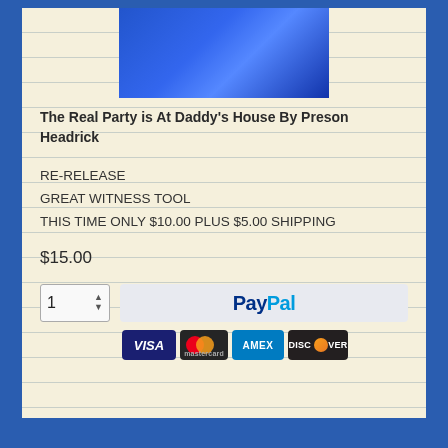[Figure (photo): Blue sky/clouds image at top of notebook page]
The Real Party is At Daddy’s House By Preson Headrick
RE-RELEASE
GREAT WITNESS TOOL
THIS TIME ONLY $10.00 PLUS $5.00 SHIPPING
$15.00
[Figure (screenshot): PayPal checkout button with quantity selector (1) and PayPal logo, plus payment card icons: VISA, Mastercard, AMEX, DISCOVER]